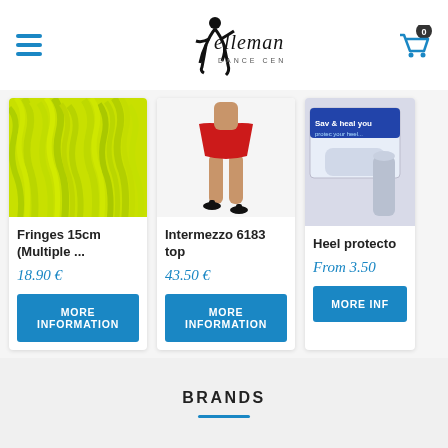Ellemane Dance Center - Navigation header with logo and cart
[Figure (screenshot): Yellow/lime feather fringe fabric product image]
Fringes 15cm (Multiple ...
18.90 €
MORE INFORMATION
[Figure (screenshot): Woman in red dance skirt and black heels product image]
Intermezzo 6183 top
43.50 €
MORE INFORMATION
[Figure (screenshot): Heel protector product in packaging]
Heel protecto
From 3.50
MORE INF
BRANDS